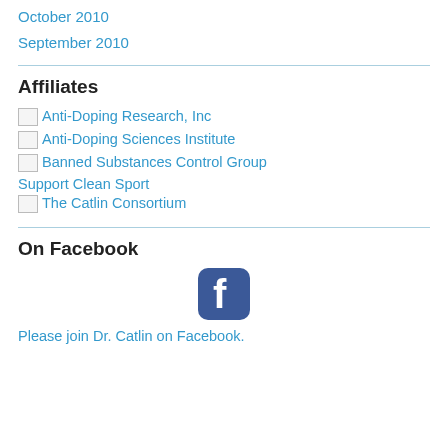October 2010
September 2010
Affiliates
Anti-Doping Research, Inc
Anti-Doping Sciences Institute
Banned Substances Control Group
Support Clean Sport
The Catlin Consortium
On Facebook
[Figure (logo): Facebook logo icon — blue rounded square with white 'f']
Please join Dr. Catlin on Facebook.